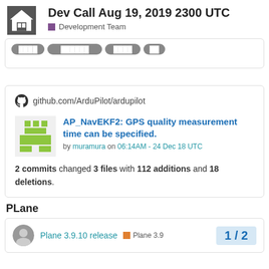Dev Call Aug 19, 2019 2300 UTC — Development Team
[Figure (screenshot): Tab bar with pill-shaped buttons (partially visible)]
[Figure (infographic): GitHub card: github.com/ArduPilot/ardupilot — AP_NavEKF2: GPS quality measurement time can be specified. by muramura on 06:14AM - 24 Dec 18 UTC. 2 commits changed 3 files with 112 additions and 18 deletions.]
PLane
[Figure (screenshot): Plane 3.9.10 release card with Plane 3.9 tag and page counter 1/2]